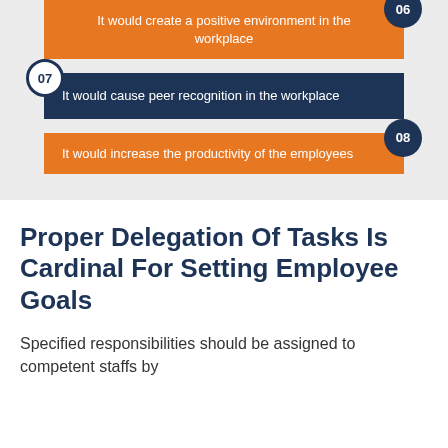[Figure (infographic): Numbered list infographic items 06, 07, 08 showing benefits of employee goal setting on colored bars with numbered badges]
06 It would create a positive environment in the workplace
07 It would cause peer recognition in the workplace
08 It would increase the productivity of the employees
Proper Delegation Of Tasks Is Cardinal For Setting Employee Goals
Specified responsibilities should be assigned to competent staffs by